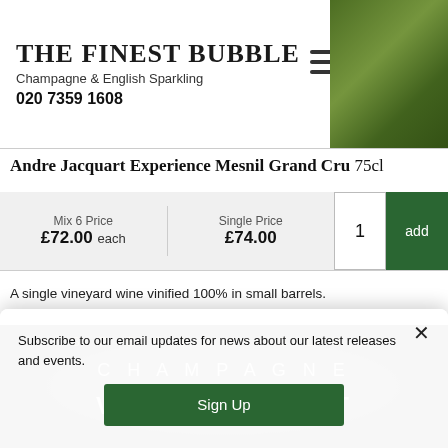THE FINEST BUBBLE
Champagne & English Sparkling
020 7359 1608
Andre Jacquart Experience Mesnil Grand Cru 75cl
| Mix 6 Price | Single Price |  |  |
| --- | --- | --- | --- |
| £72.00 each | £74.00 | 1 | add |
A single vineyard wine vinified 100% in small barrels.
[Figure (photo): Dark champagne bottles with gold lettering reading SPECIAL CLUB CHAMPAGNE VAZART-COQUART]
Subscribe to our email updates for news about our latest releases and events.